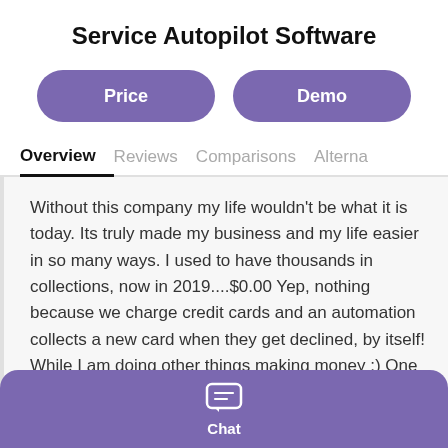Service Autopilot Software
Price
Demo
Overview
Reviews
Comparisons
Alternatives
Without this company my life wouldn't be what it is today. Its truly made my business and my life easier in so many ways. I used to have thousands in collections, now in 2019....$0.00 Yep, nothing because we charge credit cards and an automation collects a new card when they get declined, by itself! While I am doing other things making money :) One more thing I want to mention is that anything that this software lacks is surely coming in the future although I
Chat